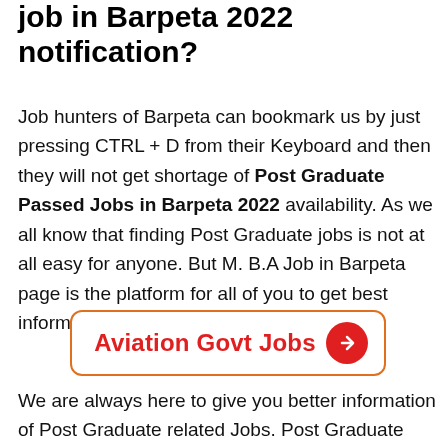job in Barpeta 2022 notification?
Job hunters of Barpeta can bookmark us by just pressing CTRL + D from their Keyboard and then they will not get shortage of Post Graduate Passed Jobs in Barpeta 2022 availability. As we all know that finding Post Graduate jobs is not at all easy for anyone. But M. B.A Job in Barpeta page is the platform for all of you to get best information.
[Figure (other): Button link with orange border and red text reading 'Aviation Govt Jobs' with a red circular arrow icon]
We are always here to give you better information of Post Graduate related Jobs. Post Graduate Students have great scope of getting Jobs in